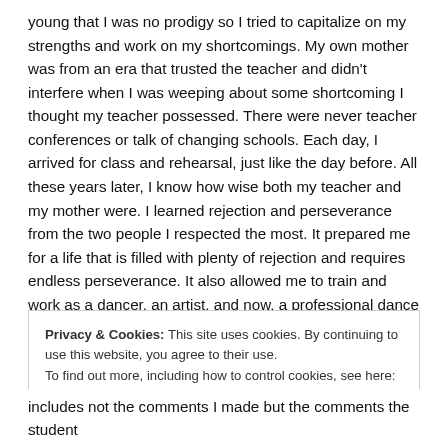young that I was no prodigy so I tried to capitalize on my strengths and work on my shortcomings. My own mother was from an era that trusted the teacher and didn't interfere when I was weeping about some shortcoming I thought my teacher possessed. There were never teacher conferences or talk of changing schools. Each day, I arrived for class and rehearsal, just like the day before. All these years later, I know how wise both my teacher and my mother were. I learned rejection and perseverance from the two people I respected the most. It prepared me for a life that is filled with plenty of rejection and requires endless perseverance. It also allowed me to train and work as a dancer, an artist, and now, a professional dance teacher.
Privacy & Cookies: This site uses cookies. By continuing to use this website, you agree to their use.
To find out more, including how to control cookies, see here: Cookie Policy
Close and accept
includes not the comments I made but the comments the student